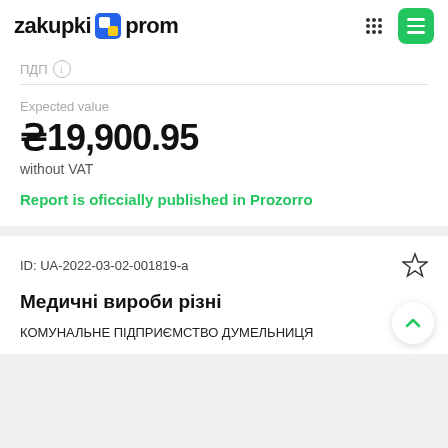zakupki prom
ПДП
Expected value
₴19,900.95
without VAT
Report is oficcially published in Prozorro
ID: UA-2022-03-02-001819-a
Медичні вироби різні
КОМУНАЛЬНЕ ПІДПРИЄМСТВО ДУМЕЛЬНИЦЯ